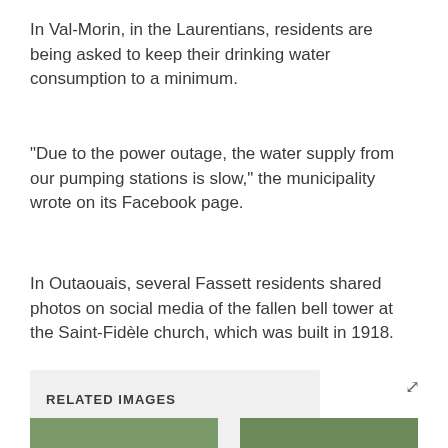In Val-Morin, in the Laurentians, residents are being asked to keep their drinking water consumption to a minimum.
"Due to the power outage, the water supply from our pumping stations is slow," the municipality wrote on its Facebook page.
In Outaouais, several Fassett residents shared photos on social media of the fallen bell tower at the Saint-Fidèle church, which was built in 1918.
-- With files from The Canadian Press.
RELATED IMAGES
[Figure (photo): Thumbnail images related to the article, partially visible at the bottom of the page]